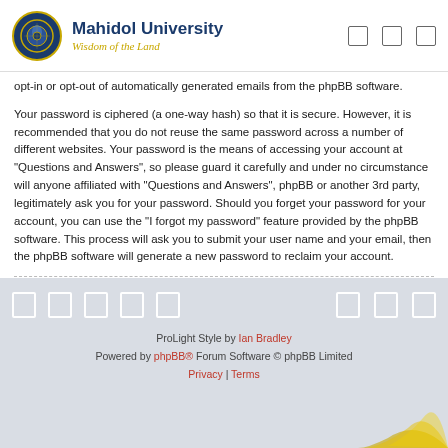Mahidol University – Wisdom of the Land
opt-in or opt-out of automatically generated emails from the phpBB software.
Your password is ciphered (a one-way hash) so that it is secure. However, it is recommended that you do not reuse the same password across a number of different websites. Your password is the means of accessing your account at "Questions and Answers", so please guard it carefully and under no circumstance will anyone affiliated with "Questions and Answers", phpBB or another 3rd party, legitimately ask you for your password. Should you forget your password for your account, you can use the "I forgot my password" feature provided by the phpBB software. This process will ask you to submit your user name and your email, then the phpBB software will generate a new password to reclaim your account.
Back to previous page
ProLight Style by Ian Bradley
Powered by phpBB® Forum Software © phpBB Limited
Privacy | Terms